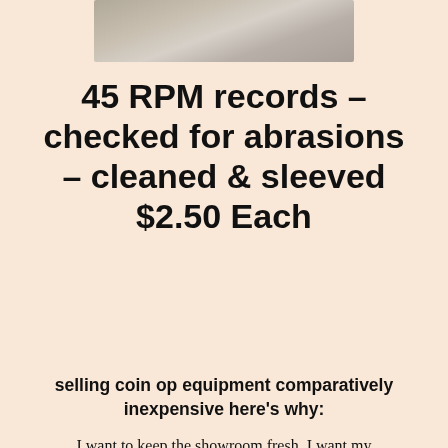[Figure (photo): Cropped photo of what appears to be a mesh or fabric surface, visible at the top of the page]
45 RPM records – checked for abrasions – cleaned & sleeved $2.50 Each
selling coin op equipment comparatively inexpensive here's why:
I want to keep the showroom fresh. I want my consignment people to have a closed sale in a timely matter. I invite you to try equipment to inspect how it works. I have been a part of the coin- operated